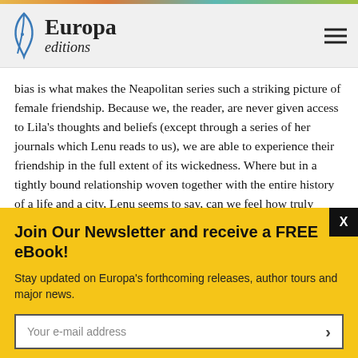Europa editions
bias is what makes the Neapolitan series such a striking picture of female friendship. Because we, the reader, are never given access to Lila’s thoughts and beliefs (except through a series of her journals which Lenu reads to us), we are able to experience their friendship in the full extent of its wickedness. Where but in a tightly bound relationship woven together with the entire history of a life and a city, Lenu seems to say, can we feel how truly isolating it is to be alone?
Join Our Newsletter and receive a FREE eBook!
Stay updated on Europa’s forthcoming releases, author tours and major news.
Your e-mail address
Are you a bookseller? Click here!
Are you a librarian? Click here!